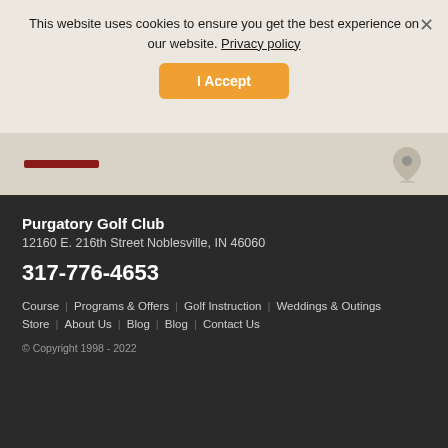This website uses cookies to ensure you get the best experience on our website. Privacy policy
I Accept
[Figure (map): Partial map strip with a dark red horizontal bar element on the left and a map pin/location icon on the right, on a beige/tan background]
Purgatory Golf Club
12160 E. 216th Street Noblesville, IN 46060
317-776-4653
Course  Programs & Offers  Golf Instruction  Weddings & Outings  Store  About Us  Blog  Blog  Contact Us
© Copyright 1998 - 2022